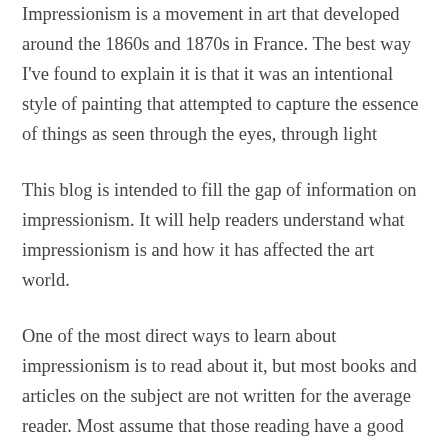Impressionism is a movement in art that developed around the 1860s and 1870s in France. The best way I've found to explain it is that it was an intentional style of painting that attempted to capture the essence of things as seen through the eyes, through light
This blog is intended to fill the gap of information on impressionism. It will help readers understand what impressionism is and how it has affected the art world.
One of the most direct ways to learn about impressionism is to read about it, but most books and articles on the subject are not written for the average reader. Most assume that those reading have a good